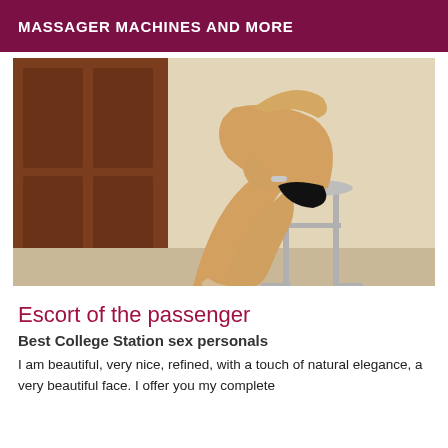MASSAGER MACHINES AND MORE
[Figure (photo): A woman in minimal clothing sitting on a metal bar stool, posed in front of a wooden door and light-colored wall.]
Escort of the passenger
Best College Station sex personals
I am beautiful, very nice, refined, with a touch of natural elegance, a very beautiful face. I offer you my complete